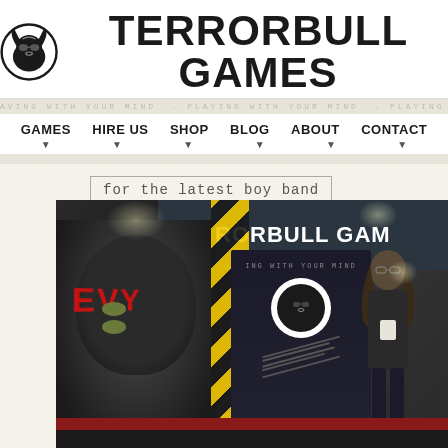[Figure (logo): TerrorBull Games logo with bull head icon in circle on left, bold text TERRORBULL GAMES on right]
PLAYING WITH YOUR MIND . PLAYING WITH YOUR MIND . PLAYING WITH YOUR MIND . PLAYING WITH YOUR MIND . PLAYING WITH YOU
GAMES   HIRE US   SHOP   BLOG   ABOUT   CONTACT
for the latest boy band
[Figure (photo): Convention floor photo: person in black balaclava with EVIL written in red on front, standing next to hazard-striped pillar, TerrorBull Games banner in background, another person with long hair standing at booth, rollup banner with TerrorBull logo visible]